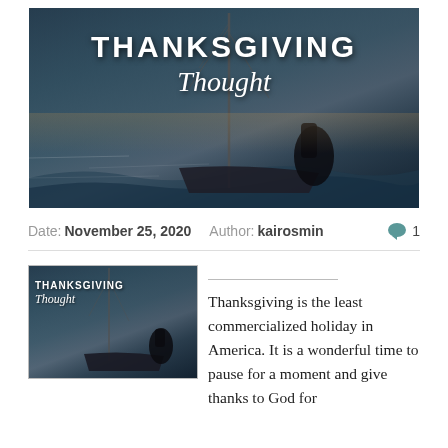[Figure (photo): Hero image of a sailboat on water at dusk/sunset with overlaid text reading THANKSGIVING Thought]
Date: November 25, 2020   Author: kairosmin   💬 1
[Figure (photo): Thumbnail image of sailboat with text THANKSGIVING Thought]
Thanksgiving is the least commercialized holiday in America. It is a wonderful time to pause for a moment and give thanks to God for